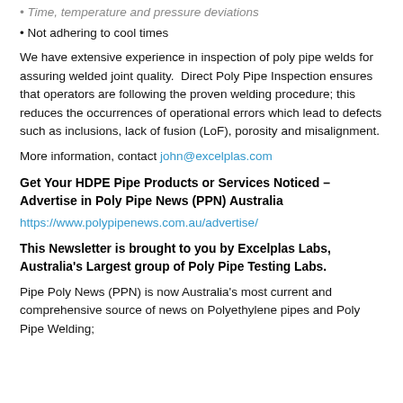Time, temperature and pressure deviations
Not adhering to cool times
We have extensive experience in inspection of poly pipe welds for assuring welded joint quality.  Direct Poly Pipe Inspection ensures that operators are following the proven welding procedure; this reduces the occurrences of operational errors which lead to defects such as inclusions, lack of fusion (LoF), porosity and misalignment.
More information, contact john@excelplas.com
Get Your HDPE Pipe Products or Services Noticed – Advertise in Poly Pipe News (PPN) Australia
https://www.polypipenews.com.au/advertise/
This Newsletter is brought to you by Excelplas Labs, Australia's Largest group of Poly Pipe Testing Labs.
Pipe Poly News (PPN) is now Australia's most current and comprehensive source of news on Polyethylene pipes and Poly Pipe Welding;